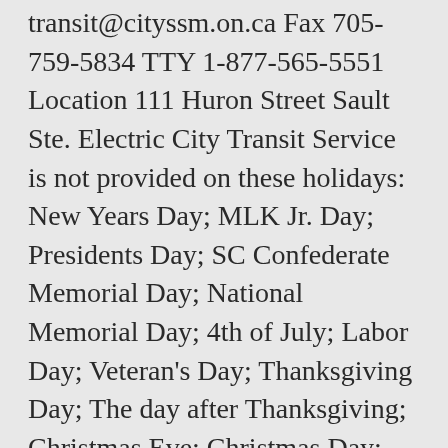transit@cityssm.on.ca Fax 705-759-5834 TTY 1-877-565-5551 Location 111 Huron Street Sault Ste. Electric City Transit Service is not provided on these holidays: New Years Day; MLK Jr. Day; Presidents Day; SC Confederate Memorial Day; National Memorial Day; 4th of July; Labor Day; Veteran's Day; Thanksgiving Day; The day after Thanksgiving; Christmas Eve; Christmas Day; The day after Christmas Learn about bus transfers, riding the bus, exiting the bus, boarding the bus, and much more. Please make alternative arrangements until further notice. A new system will be available in the next 30-60 days. Timetables: View the full schedule for a route and set